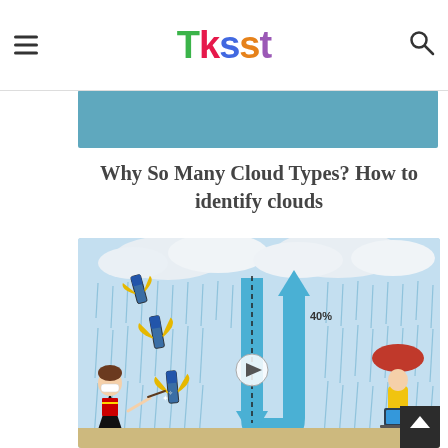TKSST
[Figure (screenshot): Blue banner/thumbnail strip from a TKSST blog page]
Why So Many Cloud Types? How to identify clouds
[Figure (screenshot): Animated illustration thumbnail showing clouds raining, flying test tubes with wings, a Harry Potter character with a wand, a U-shaped blue arrow with '40%' label, a play button, and a character with a red umbrella and laptop. A dark back-to-top button appears in the lower right corner.]